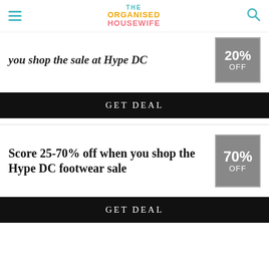THE ORGANISED HOUSEWIFE
you shop the sale at Hype DC
[Figure (other): Grey discount badge showing '20% OFF']
GET DEAL
Score 25-70% off when you shop the Hype DC footwear sale
[Figure (other): Grey discount badge showing '70% OFF']
GET DEAL